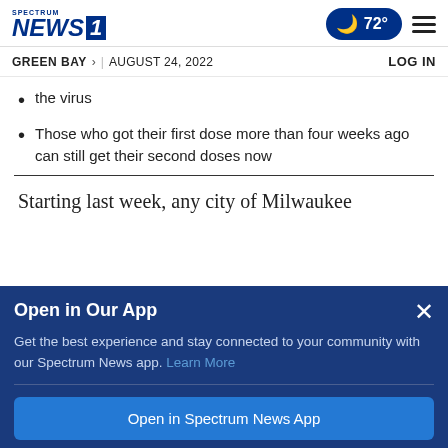Spectrum News 1 | GREEN BAY > | AUGUST 24, 2022 | LOG IN | 72°
the virus
Those who got their first dose more than four weeks ago can still get their second doses now
Starting last week, any city of Milwaukee
Open in Our App
Get the best experience and stay connected to your community with our Spectrum News app. Learn More
Open in Spectrum News App
Continue in Browser